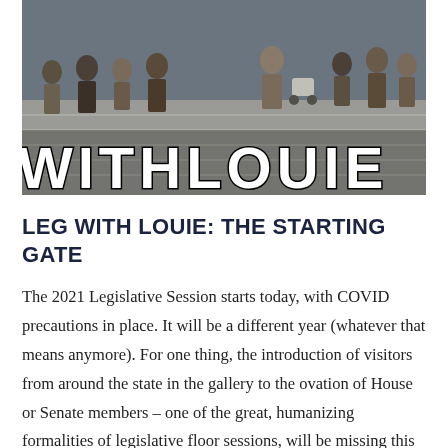[Figure (photo): Group of people standing on steps of a government building, with large overlaid text reading 'WITHLOUIE' in bold white letters with black outline.]
LEG WITH LOUIE: THE STARTING GATE
The 2021 Legislative Session starts today, with COVID precautions in place. It will be a different year (whatever that means anymore). For one thing, the introduction of visitors from around the state in the gallery to the ovation of House or Senate members – one of the great, humanizing formalities of legislative floor sessions, will be missing this year. Also...